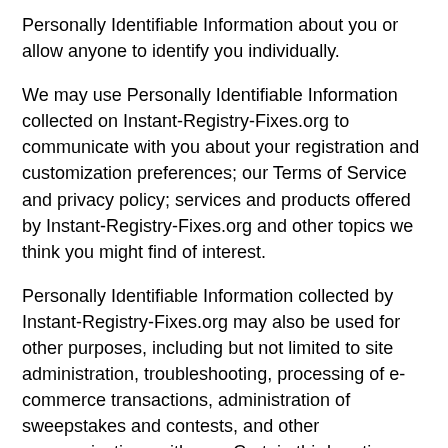Personally Identifiable Information about you or allow anyone to identify you individually.
We may use Personally Identifiable Information collected on Instant-Registry-Fixes.org to communicate with you about your registration and customization preferences; our Terms of Service and privacy policy; services and products offered by Instant-Registry-Fixes.org and other topics we think you might find of interest.
Personally Identifiable Information collected by Instant-Registry-Fixes.org may also be used for other purposes, including but not limited to site administration, troubleshooting, processing of e-commerce transactions, administration of sweepstakes and contests, and other communications with you. Certain third parties who provide technical support for the operation of our site (our Web hosting service for example) may access such information. We will use your information only as permitted by law. In addition, from time to time as we continue to develop our business, we may sell, buy, merge or partner with other companies or businesses. In such